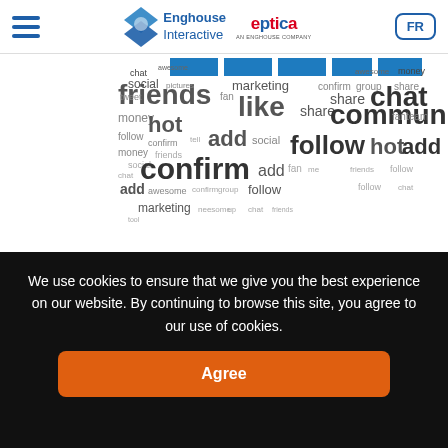Enghouse Interactive | eptica | FR
[Figure (illustration): Word cloud with social media related words such as friends, community, chat, follow, hot, confirm, add, share, like, marketing, money, team, fan, group, etc. in various sizes and colors (blue, gray, dark).]
Personal recommendation is one of the most powerful sales tools in the world. People naturally listen to the experiences of their friends and family and take them on board when making similar purchases. And the rise of
We use cookies to ensure that we give you the best experience on our website. By continuing to browse this site, you agree to our use of cookies.
Agree